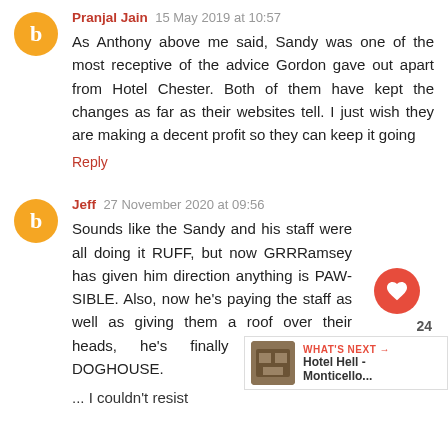Pranjal Jain  15 May 2019 at 10:57
As Anthony above me said, Sandy was one of the most receptive of the advice Gordon gave out apart from Hotel Chester. Both of them have kept the changes as far as their websites tell. I just wish they are making a decent profit so they can keep it going
Reply
Jeff  27 November 2020 at 09:56
Sounds like the Sandy and his staff were all doing it RUFF, but now GRRRamsey has given him direction anything is PAW-SIBLE. Also, now he's paying the staff as well as giving them a roof over their heads, he's finally out of the DOGHOUSE.
... I couldn't resist